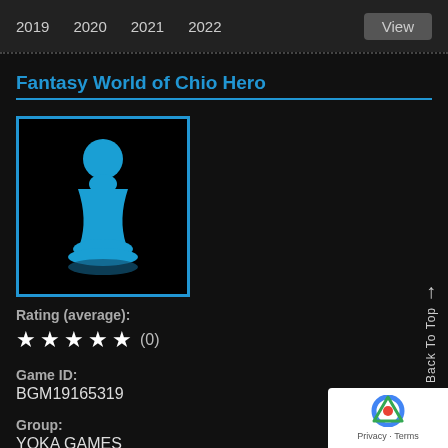2019  2020  2021  2022  View
Fantasy World of Chio Hero
[Figure (illustration): Chess pawn icon in blue on black background, bordered by a blue rectangle frame]
Rating (average):
★★★★★ (0)
Game ID:
BGM19165319
Group:
YOKA GAMES
Short Description: